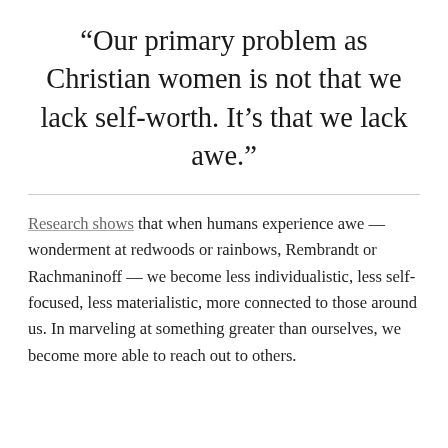“Our primary problem as Christian women is not that we lack self-worth. It’s that we lack awe.”
Research shows that when humans experience awe — wonderment at redwoods or rainbows, Rembrandt or Rachmaninoff — we become less individualistic, less self-focused, less materialistic, more connected to those around us. In marveling at something greater than ourselves, we become more able to reach out to others.